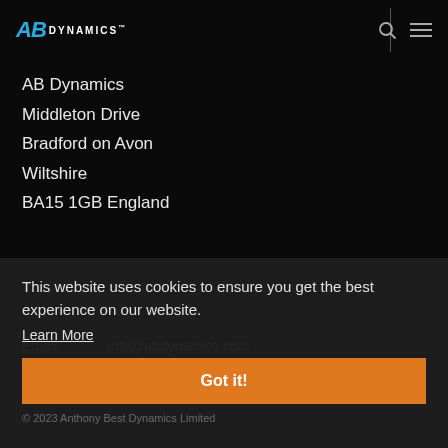AB Dynamics™
AB Dynamics
Middleton Drive
Bradford on Avon
Wiltshire
BA15 1GB England
Email:  info@abdynamics.com
Tel:    +44 (0)1225 860 200
This website uses cookies to ensure you get the best experience on our website. Learn More
Got it!
© 2023 Anthony Best Dynamics Limited